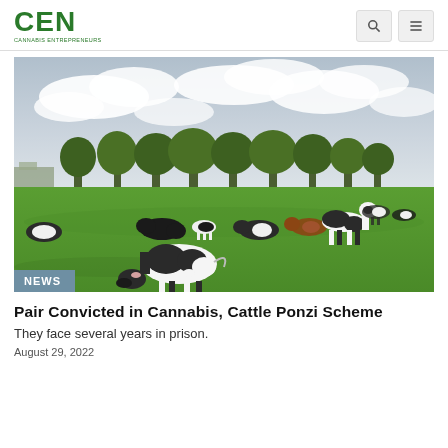CEN CANNABIS ENTREPRENEURS
[Figure (photo): Cattle grazing on a green farm field with trees in the background and cloudy sky above. Black and white dairy cows scattered across the pasture, some lying down, some standing and grazing.]
NEWS
Pair Convicted in Cannabis, Cattle Ponzi Scheme
They face several years in prison.
August 29, 2022